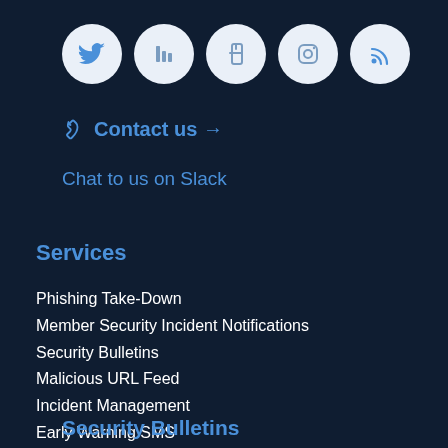[Figure (other): Row of 5 social media icon circles: Twitter, and 4 others (LinkedIn/Facebook/Instagram/RSS) on dark navy background]
Contact us →
Chat to us on Slack
Services
Phishing Take-Down
Member Security Incident Notifications
Security Bulletins
Malicious URL Feed
Incident Management
Early Warning SMS
Sensitive Information Alert
AusCERT Education
Security Bulletins